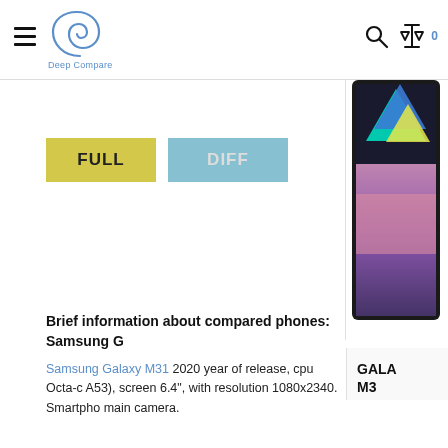Deep Compare
[Figure (screenshot): Button group with FULL (yellow) and DIFF (light blue) toggle buttons]
[Figure (photo): Samsung Galaxy M31 phone image cropped on right side, showing colorful geometric shapes on screen]
GALA M3
Brief information about compared phones: Samsung G
Samsung Galaxy M31 2020 year of release, cpu Octa-c A53), screen 6.4", with resolution 1080x2340. Smartpho main camera.